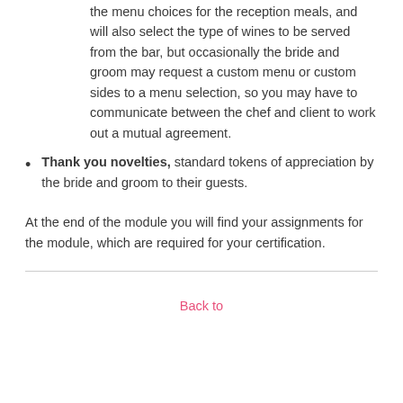the menu choices for the reception meals, and will also select the type of wines to be served from the bar, but occasionally the bride and groom may request a custom menu or custom sides to a menu selection, so you may have to communicate between the chef and client to work out a mutual agreement.
Thank you novelties, standard tokens of appreciation by the bride and groom to their guests.
At the end of the module you will find your assignments for the module, which are required for your certification.
Back to